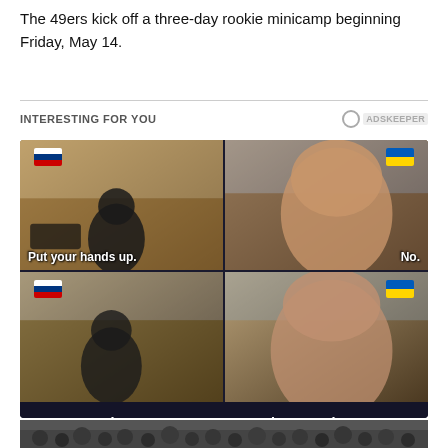The 49ers kick off a three-day rookie minicamp beginning Friday, May 14.
INTERESTING FOR YOU
[Figure (photo): Ad card showing a meme with four panels depicting two men with Russian and Ukrainian flags as faces. Text overlays: 'Put your hands up.' and 'No.' Title: '12 Most Poignant Memes On Russian Attack On Ukraine'. Source: BRAINBERRIES]
[Figure (photo): Partial view of a crowd of people at the bottom of the page]